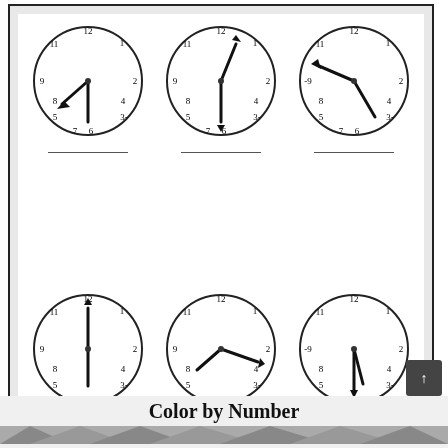[Figure (illustration): A worksheet showing 6 analog clocks arranged in a 3x2 grid. Top row: Clock 1 shows hour hand pointing to ~7 (lower-left) and minute hand pointing to 6 (down). Clock 2 shows hour hand pointing up-right (~1) and minute hand pointing down (~6). Clock 3 shows hour hand pointing to 9 (left-up arrow) and minute hand pointing to ~6 (down-right). Bottom row: Clock 4 shows two vertical hands (12 and 6). Clock 5 shows hour hand pointing left and minute hand pointing right. Clock 6 shows hour hand pointing down toward 6. Each clock has a blank answer line below it.]
Free Math Worksheets @ http://www.mathworksheets4kids.com
Kids Free Printable Activities - Trebleonhuntington - Free Printable Activity Sheets For Kids
[Figure (illustration): Color by Number worksheet title with partial decorative banner image below]